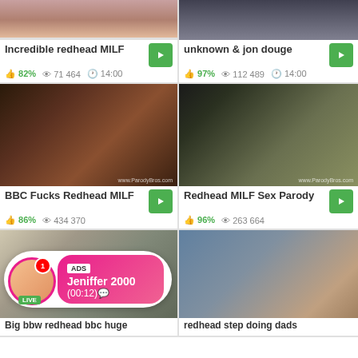[Figure (screenshot): Video thumbnail grid - top row left thumbnail (cropped top)]
Incredible redhead MILF
82%  71 464  14:00
[Figure (screenshot): Video thumbnail grid - top row right thumbnail (cropped top)]
unknown & jon douge
97%  112 489  14:00
[Figure (screenshot): BBC Fucks Redhead MILF video thumbnail]
BBC Fucks Redhead MILF
86%  434 370
[Figure (screenshot): Redhead MILF Sex Parody video thumbnail - man at desk]
Redhead MILF Sex Parody
96%  263 664
[Figure (screenshot): Big bbw redhead bbc huge - video thumbnail with ad overlay showing Jeniffer 2000 LIVE chat]
[Figure (screenshot): redhead step doing dads - video thumbnail right column]
Big bbw redhead bbc huge
redhead step doing dads